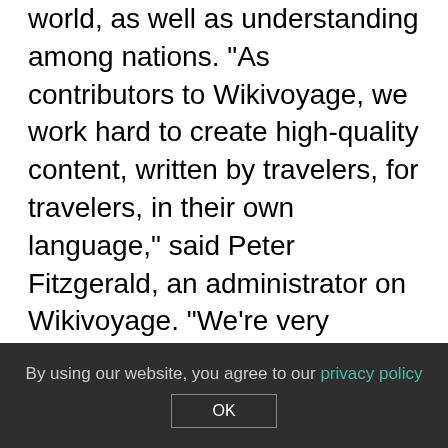world, as well as understanding among nations. "As contributors to Wikivoyage, we work hard to create high-quality content, written by travelers, for travelers, in their own language," said Peter Fitzgerald, an administrator on Wikivoyage. "We're very excited to be part of the Wikimedia community, and we invite travelers to join us in creating an independent, non-commercial, online travel guide for the world. We are confident that it will become the number one travel resource on the web." Wikivoyage is currently available in nine languages: Dutch, English, French, German, Italian, Russian, Portuguese, Spanish
By using our website, you agree to our privacy policy
OK